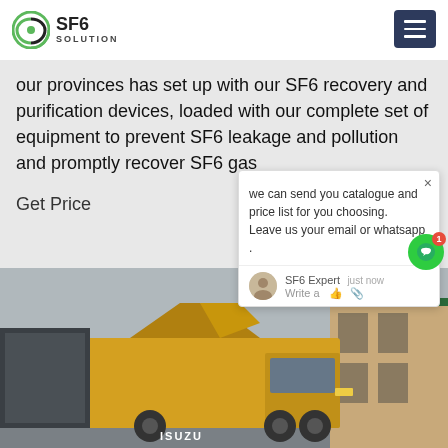SF6 SOLUTION
our provinces has set up with our SF6 recovery and purification devices, loaded with our complete set of equipment to prevent SF6 leakage and pollution and promptly recover SF6 gas
Get Price
[Figure (screenshot): Chat popup widget showing message: 'we can send you catalogue and price list for you choosing. Leave us your email or whatsapp .' with SF6 Expert avatar, 'just now' timestamp, and Write a message area with thumbs up and paperclip icons]
[Figure (photo): Photo of a yellow ISUZU truck parked in front of a building with a fence, overcast sky]